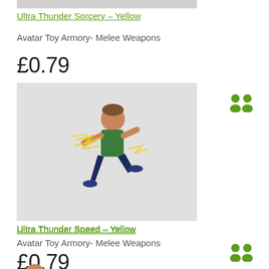[Figure (other): Partial product image at top (cropped, gray background)]
Ultra Thunder Sorcery – Yellow
Avatar Toy Armory- Melee Weapons
£0.79
[Figure (photo): Xbox avatar character running with yellow lightning effects, on gray background]
Ultra Thunder Speed – Yellow
Avatar Toy Armory- Melee Weapons
£0.79
[Figure (other): Partial avatar image at bottom (cropped)]